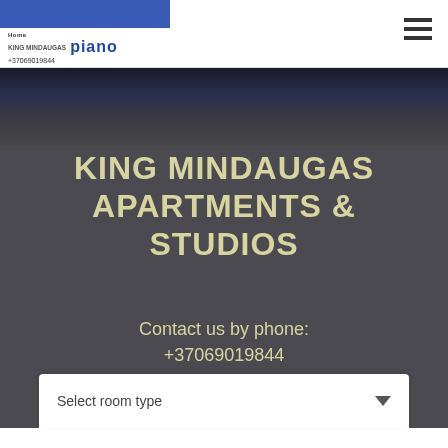KING MINDAUGAS piano +37069019844
KING MINDAUGAS APARTMENTS & STUDIOS
Contact us by phone:
+37069019844
or BOOK ONLINE:
Select room type